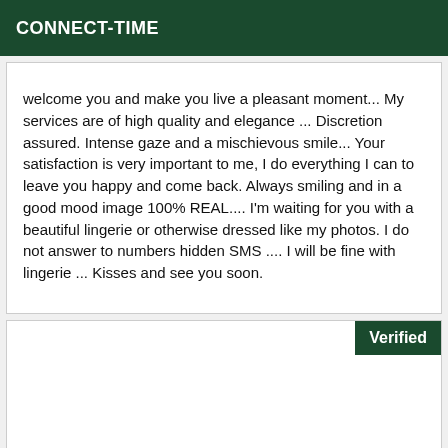CONNECT-TIME
welcome you and make you live a pleasant moment... My services are of high quality and elegance ... Discretion assured. Intense gaze and a mischievous smile... Your satisfaction is very important to me, I do everything I can to leave you happy and come back. Always smiling and in a good mood image 100% REAL.... I'm waiting for you with a beautiful lingerie or otherwise dressed like my photos. I do not answer to numbers hidden SMS .... I will be fine with lingerie ... Kisses and see you soon.
[Figure (other): Card with Verified badge in dark green at top right, rest of card is blank white]